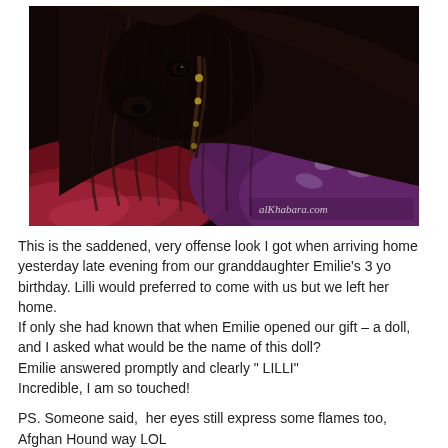[Figure (photo): A dark-coated Afghan Hound dog with long silky fur resting on colorful patterned fabric/blankets. The dog has braided hair with small beads and looks sideways at the camera with a saddened, offended expression. Watermark reads alKhabara.com in bottom right corner.]
This is the saddened, very offense look I got when arriving home yesterday late evening from our granddaughter Emilie's 3 yo birthday. Lilli would preferred to come with us but we left her home.
If only she had known that when Emilie opened our gift – a doll, and I asked what would be the name of this doll?
Emilie answered promptly and clearly " LILLI"
Incredible, I am so touched!
PS. Someone said,  her eyes still express some flames too, Afghan Hound way LOL